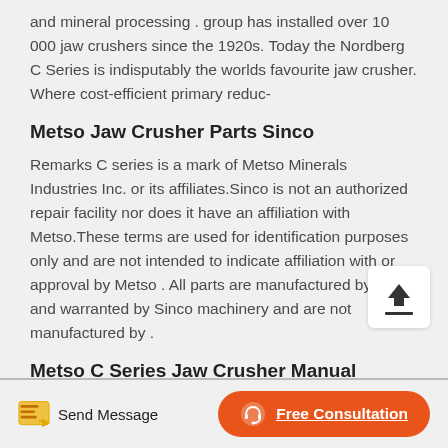and mineral processing . group has installed over 10 000 jaw crushers since the 1920s. Today the Nordberg C Series is indisputably the worlds favourite jaw crusher. Where cost-efficient primary reduc-
Metso Jaw Crusher Parts Sinco
Remarks C series is a mark of Metso Minerals Industries Inc. or its affiliates.Sinco is not an authorized repair facility nor does it have an affiliation with Metso.These terms are used for identification purposes only and are not intended to indicate affiliation with or approval by Metso . All parts are manufactured by for and warranted by Sinco machinery and are not manufactured by .
Metso C Series Jaw Crusher Manual Slideshare
Send Message
Free Consultation